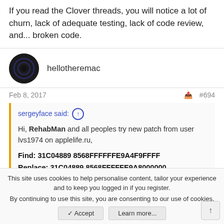If you read the Clover threads, you will notice a lot of churn, lack of adequate testing, lack of code review, and... broken code.
hellotheremac
Feb 8, 2017  #694
sergeyface said: ↑
Hi, RehabMan and all peoples try new patch from user lvs1974 on applelife.ru,
Find: 31C04889 8568FFFFFFE9A4F9FFFF
Replace: 31C04889 8568FFFFFE9A8000000
Name: AppleIntelHD5000Graphics
This site uses cookies to help personalise content, tailor your experience and to keep you logged in if you register.
By continuing to use this site, you are consenting to our use of cookies.
Accept  Learn more...